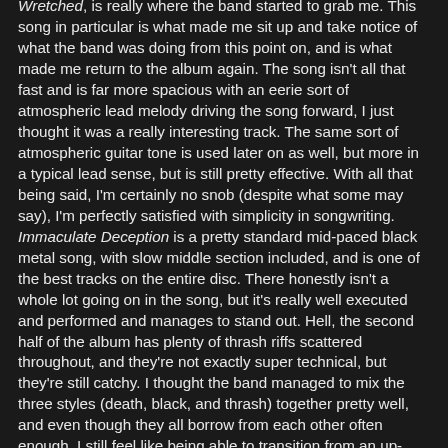Wretched, is really where the band started to grab me. This song in particular is what made me sit up and take notice of what the band was doing from this point on, and is what made me return to the album again. The song isn't all that fast and is far more spacious with an eerie sort of atmospheric lead melody driving the song forward, I just thought it was a really interesting track. The same sort of atmospheric guitar tone is used later on as well, but more in a typical lead sense, but is still pretty effective. With all that being said, I'm certainly no snob (despite what some may say), I'm perfectly satisfied with simplicity in songwriting. Immaculate Deception is a pretty standard mid-paced black metal song, with slow middle section included, and is one of the best tracks on the entire disc. There honestly isn't a whole lot going on in the song, but it's really well executed and performed and manages to stand out. Hell, the second half of the album has plenty of thrash riffs scattered throughout, and they're not exactly super technical, but they're still catchy. I thought the band managed to mix the three styles (death, black, and thrash) together pretty well, and even though they all borrow from each other often enough, I still feel like being able to transition from an up-